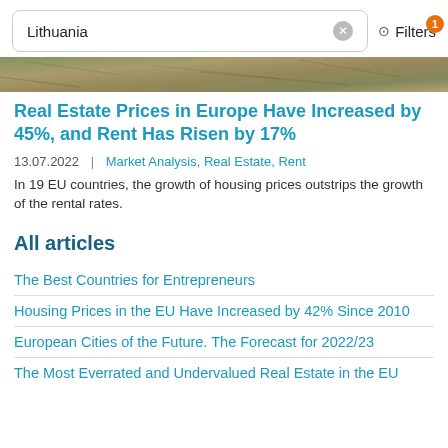Lithuania | Filters 1
[Figure (photo): Partial aerial/landscape photo strip showing terrain]
Real Estate Prices in Europe Have Increased by 45%, and Rent Has Risen by 17%
13.07.2022  |  Market Analysis, Real Estate, Rent
In 19 EU countries, the growth of housing prices outstrips the growth of the rental rates.
All articles
The Best Countries for Entrepreneurs
Housing Prices in the EU Have Increased by 42% Since 2010
European Cities of the Future. The Forecast for 2022/23
The Most Everrated and Undervalued Real Estate in the EU